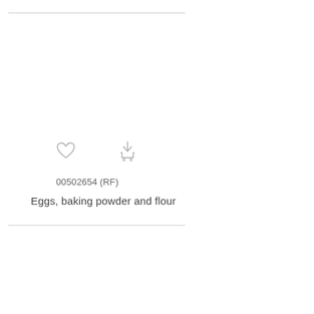[Figure (other): Heart icon (outline) and shopping cart icon (outline), displayed as UI action icons]
00502654 (RF)
Eggs, baking powder and flour